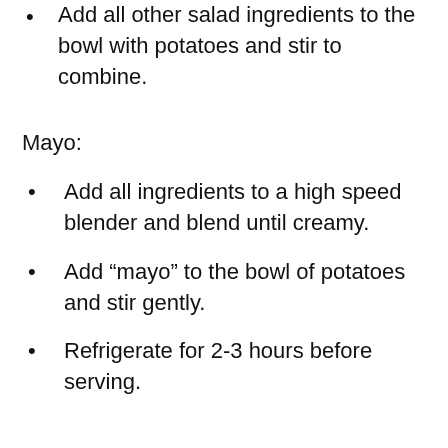Add all other salad ingredients to the bowl with potatoes and stir to combine.
Mayo:
Add all ingredients to a high speed blender and blend until creamy.
Add “mayo” to the bowl of potatoes and stir gently.
Refrigerate for 2-3 hours before serving.
Notes: